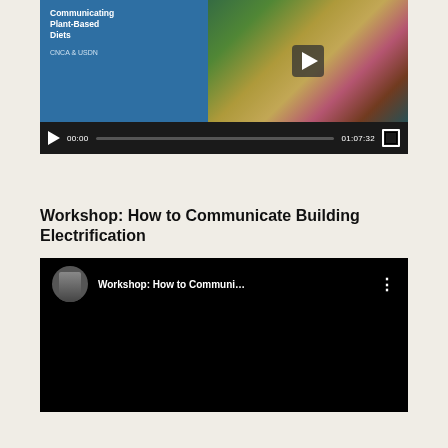[Figure (screenshot): Video player showing a workshop titled 'Communicating Plant-Based Diets' by CNCA & USDN. Player shows paused state at 00:00 with total duration 01:07:32. Thumbnail shows blue background with text on left and food images on right.]
Workshop: How to Communicate Building Electrification
[Figure (screenshot): YouTube video player (dark/black background) showing video titled 'Workshop: How to Communi...' with a speaker avatar thumbnail on the left, three-dot menu on right, and black video area below.]